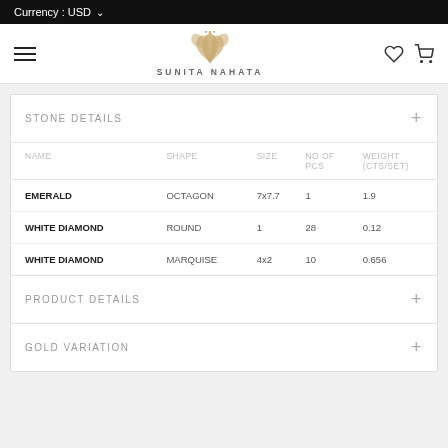Currency : USD
[Figure (logo): Sunita Nahata lotus flower logo with brand name]
STONE DETAILS
| NAME | SHAPE | SIZE | NO OF PCS | WEIGHT (CTS/SET) |
| --- | --- | --- | --- | --- |
| EMERALD | OCTAGON | 7x7.7 | 1 | 1.9 |
| WHITE DIAMOND | ROUND | 1 | 28 | 0.12 |
| WHITE DIAMOND | MARQUISE | 4x2 | 10 | 0.656 |
PRODUCT DETAILS
GOLD VARIATION